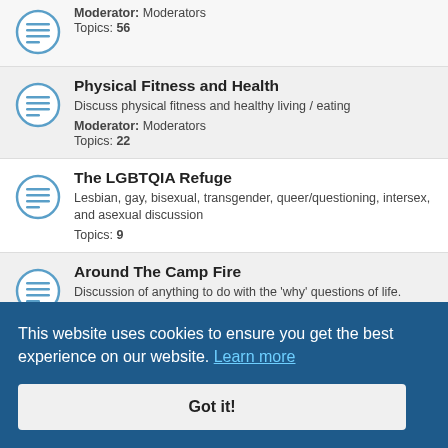Moderator: Moderators
Topics: 56
Physical Fitness and Health – Discuss physical fitness and healthy living / eating. Moderator: Moderators. Topics: 22
The LGBTQIA Refuge – Lesbian, gay, bisexual, transgender, queer/questioning, intersex, and asexual discussion. Topics: 9
Around The Camp Fire – Discussion of anything to do with the 'why' questions of life. Moderator: William. Topics: 23
Comics – Moderator: Aeliunra. Topics: (partial)
Book Club (partial)
This website uses cookies to ensure you get the best experience on our website. Learn more. Got it!